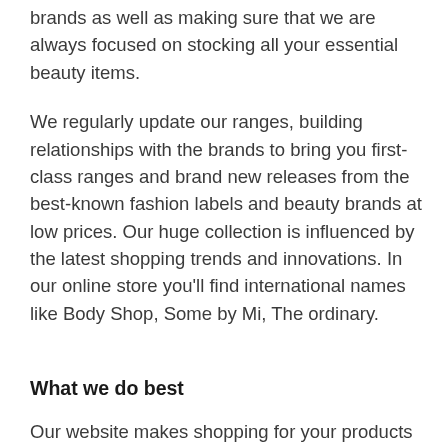brands as well as making sure that we are always focused on stocking all your essential beauty items.
We regularly update our ranges, building relationships with the brands to bring you first-class ranges and brand new releases from the best-known fashion labels and beauty brands at low prices. Our huge collection is influenced by the latest shopping trends and innovations. In our online store you’ll find international names like Body Shop, Some by Mi, The ordinary.
What we do best
Our website makes shopping for your products easier than ever, so you can get what you love for